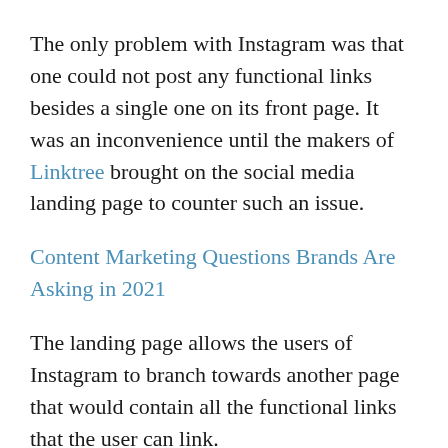The only problem with Instagram was that one could not post any functional links besides a single one on its front page. It was an inconvenience until the makers of Linktree brought on the social media landing page to counter such an issue.
Content Marketing Questions Brands Are Asking in 2021
The landing page allows the users of Instagram to branch towards another page that would contain all the functional links that the user can link.